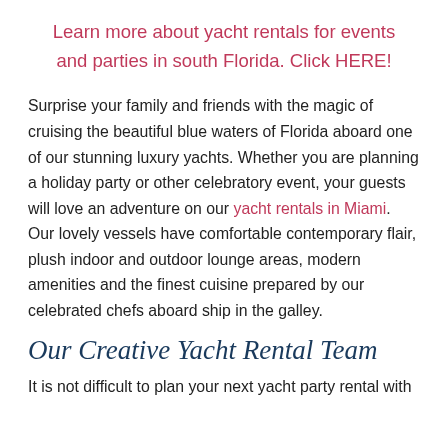Learn more about yacht rentals for events and parties in south Florida. Click HERE!
Surprise your family and friends with the magic of cruising the beautiful blue waters of Florida aboard one of our stunning luxury yachts. Whether you are planning a holiday party or other celebratory event, your guests will love an adventure on our yacht rentals in Miami. Our lovely vessels have comfortable contemporary flair, plush indoor and outdoor lounge areas, modern amenities and the finest cuisine prepared by our celebrated chefs aboard ship in the galley.
Our Creative Yacht Rental Team
It is not difficult to plan your next yacht party rental with